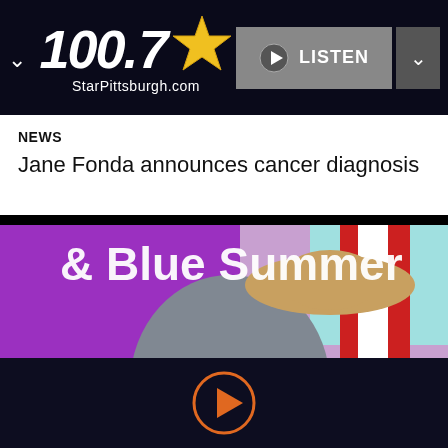[Figure (screenshot): 100.7 Star Pittsburgh radio station navigation bar with logo, LISTEN button and dropdown]
NEWS
Jane Fonda announces cancer diagnosis
[Figure (photo): Colorful summer promotional image showing person with straw hat and text '& Blue Summer' with purple, pink and red decorative elements]
[Figure (other): Orange circular play button icon on dark navy background at the bottom of the screen]